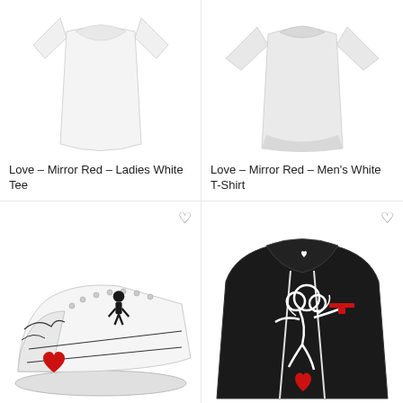[Figure (photo): White ladies fitted T-shirt, front view, plain white]
Love – Mirror Red – Ladies White Tee
[Figure (photo): White men's T-shirt, front view, plain white]
Love – Mirror Red – Men's White T-Shirt
[Figure (photo): White sneaker/canvas shoe with black line art, studs, and red heart charm, featuring a dark angel/figure graphic]
[Figure (photo): Black hoodie with white and red cupid/angel graphic holding a gun, drawstring visible]